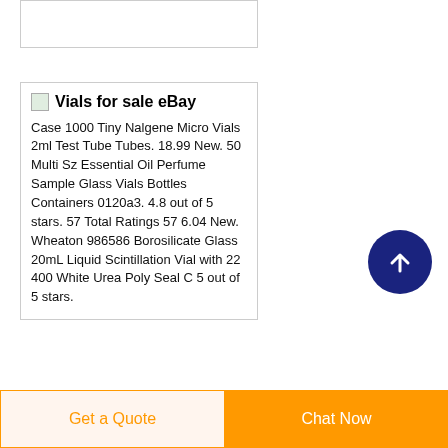[Figure (other): Partial card visible at top of page with border]
Vials for sale eBay
Case 1000 Tiny Nalgene Micro Vials 2ml Test Tube Tubes. 18.99 New. 50 Multi Sz Essential Oil Perfume Sample Glass Vials Bottles Containers 0120a3. 4.8 out of 5 stars. 57 Total Ratings 57 6.04 New. Wheaton 986586 Borosilicate Glass 20mL Liquid Scintillation Vial with 22 400 White Urea Poly Seal C 5 out of 5 stars.
[Figure (illustration): Dark blue circular scroll-to-top button with upward arrow]
Get a Quote
Chat Now